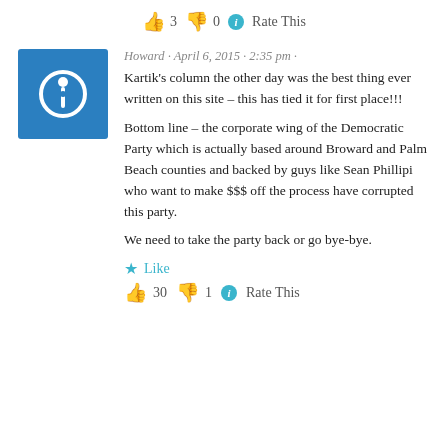👍 3 👎 0 ℹ Rate This
Howard · April 6, 2015 · 2:35 pm ·
Kartik's column the other day was the best thing ever written on this site – this has tied it for first place!!!

Bottom line – the corporate wing of the Democratic Party which is actually based around Broward and Palm Beach counties and backed by guys like Sean Phillipi who want to make $$$ off the process have corrupted this party.

We need to take the party back or go bye-bye.
Like
👍 30 👎 1 ℹ Rate This